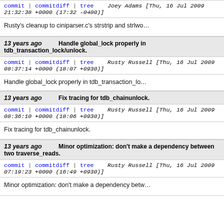commit | commitdiff | tree   Joey Adams [Thu, 16 Jul 2009 21:32:38 +0000 (17:32 -0400)]
Rusty's cleanup to ciniparser.c's strstrip and strlwo...
13 years ago   Handle global_lock properly in tdb_transaction_lock/unlock.
commit | commitdiff | tree   Rusty Russell [Thu, 16 Jul 2009 08:37:14 +0000 (18:07 +0930)]
Handle global_lock properly in tdb_transaction_lo...
13 years ago   Fix tracing for tdb_chainunlock.
commit | commitdiff | tree   Rusty Russell [Thu, 16 Jul 2009 08:36:10 +0000 (18:06 +0930)]
Fix tracing for tdb_chainunlock.
13 years ago   Minor optimization: don't make a dependency between two traverse_reads.
commit | commitdiff | tree   Rusty Russell [Thu, 16 Jul 2009 07:19:23 +0000 (16:49 +0930)]
Minor optimization: don't make a dependency betw...